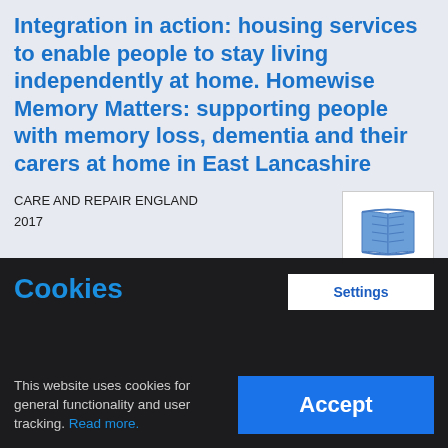Integration in action: housing services to enable people to stay living independently at home. Homewise Memory Matters: supporting people with memory loss, dementia and their carers at home in East Lancashire
CARE AND REPAIR ENGLAND
2017
[Figure (illustration): Book icon — blue open book on white background]
This briefing describes the Homewise Memory Matters project for people with memory loss, dementia and their carers. The project supports people with memory loss and dementia to stay
Cookies
Settings
This website uses cookies for general functionality and user tracking. Read more.
Accept